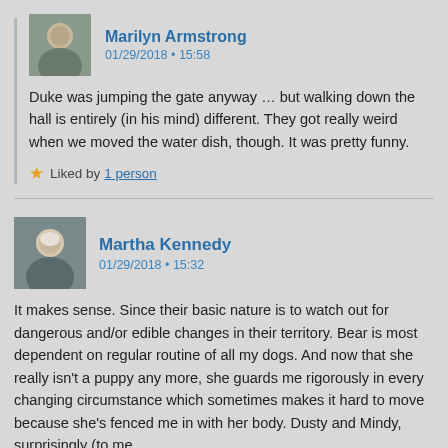Marilyn Armstrong
01/29/2018 • 15:58
Duke was jumping the gate anyway … but walking down the hall is entirely (in his mind) different. They got really weird when we moved the water dish, though. It was pretty funny.
Liked by 1 person
Martha Kennedy
01/29/2018 • 15:32
It makes sense. Since their basic nature is to watch out for dangerous and/or edible changes in their territory. Bear is most dependent on regular routine of all my dogs. And now that she really isn't a puppy any more, she guards me rigorously in every changing circumstance which sometimes makes it hard to move because she's fenced me in with her body. Dusty and Mindy, surprisingly (to me…